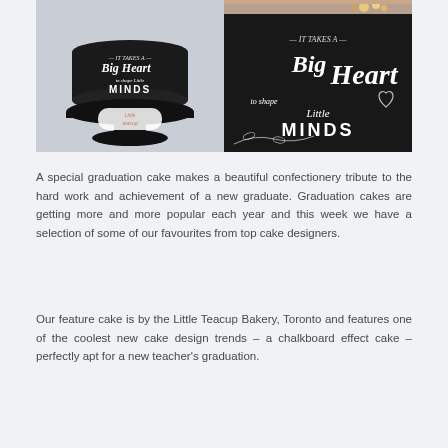[Figure (photo): Two photographs of a black chalkboard-effect graduation cake by Little Teacup Bakery. Left image shows full cake on a stand with white chalk-style lettering reading 'It Takes a Big Heart to shape Little MINDS'. Right images show a close-up top portion and a close-up of the chalkboard text on the cake.]
A special graduation cake makes a beautiful confectionery tribute to the hard work and achievement of a new graduate. Graduation cakes are getting more and more popular each year and this week we have a selection of some of our favourites from top cake designers.
Our feature cake is by the Little Teacup Bakery, Toronto and features one of the coolest new cake design trends – a chalkboard effect cake – perfectly apt for a new teacher's graduation.